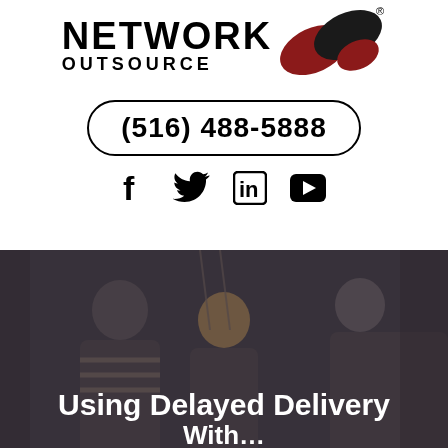[Figure (logo): Network Outsource logo with stylized ribbon/twist graphic in dark red and black]
(516) 488-5888
[Figure (infographic): Social media icons: Facebook, Twitter, LinkedIn, YouTube]
[Figure (photo): Three people in a server room or data center, smiling, with dark overlay]
Using Delayed Delivery With...